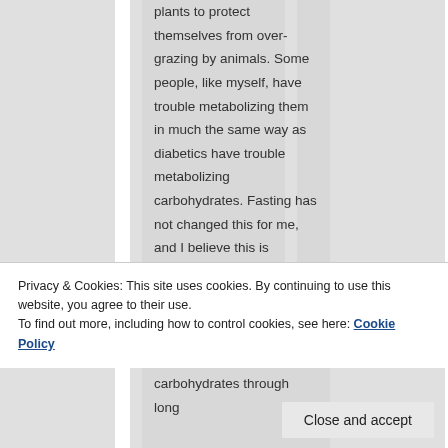plants to protect themselves from over-grazing by animals. Some people, like myself, have trouble metabolizing them in much the same way as diabetics have trouble metabolizing carbohydrates. Fasting has not changed this for me, and I believe this is because I am actually missing the enzymes needed to break them down. Similarly, fasting can
Privacy & Cookies: This site uses cookies. By continuing to use this website, you agree to their use.
To find out more, including how to control cookies, see here: Cookie Policy
Close and accept
carbohydrates through long